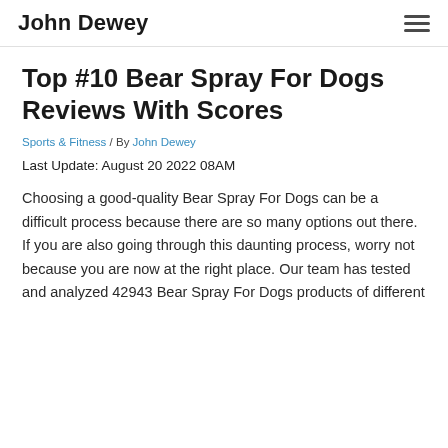John Dewey
Top #10 Bear Spray For Dogs Reviews With Scores
Sports & Fitness / By John Dewey
Last Update: August 20 2022 08AM
Choosing a good-quality Bear Spray For Dogs can be a difficult process because there are so many options out there. If you are also going through this daunting process, worry not because you are now at the right place. Our team has tested and analyzed 42943 Bear Spray For Dogs products of different